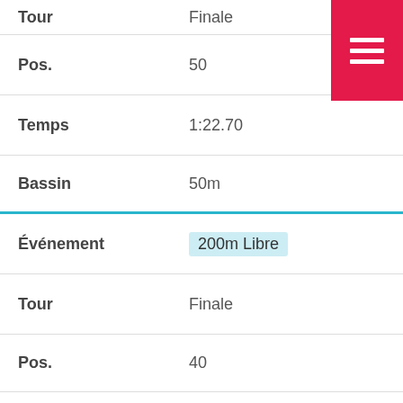| Label | Value |
| --- | --- |
| Tour | Finale |
| Pos. | 50 |
| Temps | 1:22.70 |
| Bassin | 50m |
| Événement | 200m Libre |
| Tour | Finale |
| Pos. | 40 |
| Temps | 3:00.84 |
| Bassin | 50m |
| Événement | 50m Dos (partial) |